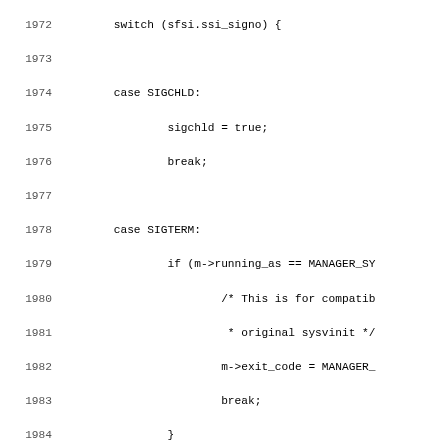[Figure (screenshot): Source code listing showing lines 1972-2003 of a C program. The code contains a switch statement on sfsi.ssi_signo with cases SIGCHLD, SIGTERM, SIGINT, and SIGWINCH, handling signal processing logic for a system manager.]